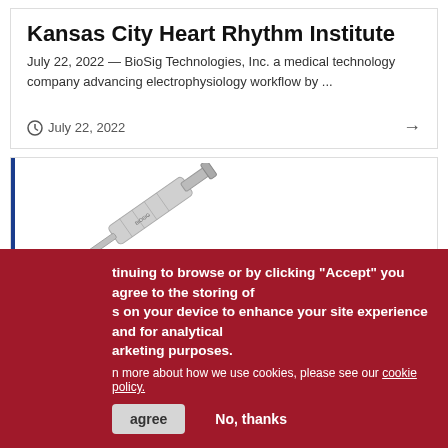Kansas City Heart Rhythm Institute
July 22, 2022 — BioSig Technologies, Inc. a medical technology company advancing electrophysiology workflow by ...
July 22, 2022
[Figure (photo): A syringe/medical device illustration shown diagonally]
tinuing to browse or by clicking "Accept" you agree to the storing of s on your device to enhance your site experience and for analytical arketing purposes.
n more about how we use cookies, please see our cookie policy.
agree    No, thanks